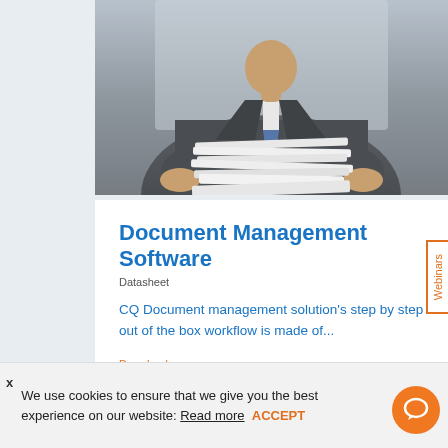[Figure (photo): A businessman in a suit holding a large stack of papers/documents, viewed from across a desk.]
Document Management Software
Datasheet
CQ Document management solution's step by step out of the box workflow is made of...
Download
Webinars
We use cookies to ensure that we give you the best experience on our website: Read more   ACCEPT